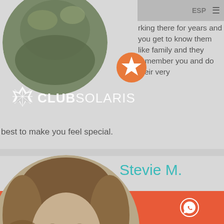[Figure (photo): Circular profile photo of a person, top portion visible, animal/bird image]
[Figure (logo): Club Solaris logo with snowflake/star icon and text]
working there for years and you get to know them like family and they remember you and do their very best to make you feel special.
[Figure (photo): Circular profile photo of Stevie M., a woman with long brown hair smiling, seated in a car]
Stevie M.
5
Our stay was great! The rooms were clean, nice pool, good location. The thing that made it a five star stay was hoster and
[Figure (other): Orange star rating badge icon]
RESERVE
[Figure (other): Phone icon white]
[Figure (other): WhatsApp icon white]